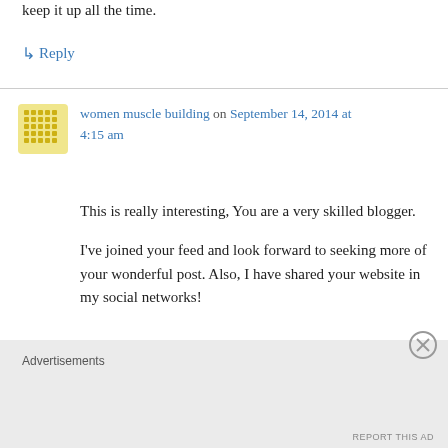keep it up all the time.
↳ Reply
women muscle building on September 14, 2014 at 4:15 am
This is really interesting, You are a very skilled blogger.

I've joined your feed and look forward to seeking more of your wonderful post. Also, I have shared your website in my social networks!
Advertisements
REPORT THIS AD